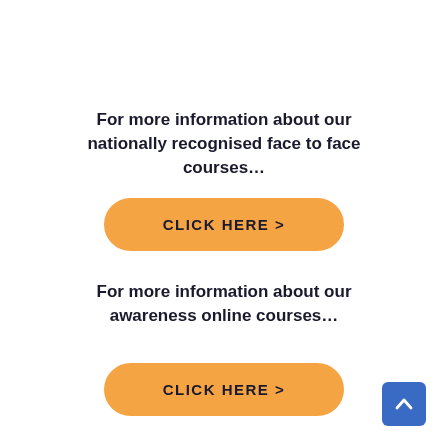For more information about our nationally recognised face to face courses…
[Figure (other): Orange rounded rectangle button with text CLICK HERE >]
For more information about our awareness online courses…
[Figure (other): Orange rounded rectangle button with text CLICK HERE >]
[Figure (other): Blue square scroll-to-top button with upward chevron arrow in bottom-right corner]